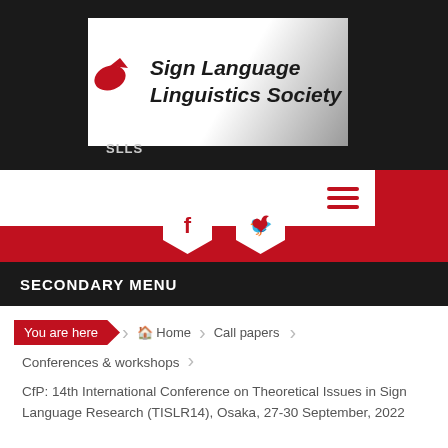[Figure (logo): Sign Language Linguistics Society (SLLS) logo with italic bold text on white/grey gradient background, red bird icon, on black header bar]
[Figure (screenshot): White navigation bar with red hamburger menu icon, and red social media hexagon icons (Facebook and Twitter) on red background strip]
SECONDARY MENU
You are here
Home
Call papers
Conferences & workshops
CfP: 14th International Conference on Theoretical Issues in Sign Language Research (TISLR14), Osaka, 27-30 September, 2022